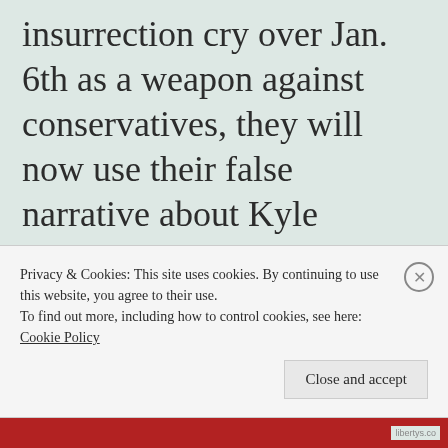insurrection cry over Jan. 6th as a weapon against conservatives, they will now use their false narrative about Kyle Rittenhouse as a weapon to try and re-write the Constitution!
Privacy & Cookies: This site uses cookies. By continuing to use this website, you agree to their use.
To find out more, including how to control cookies, see here: Cookie Policy
Close and accept